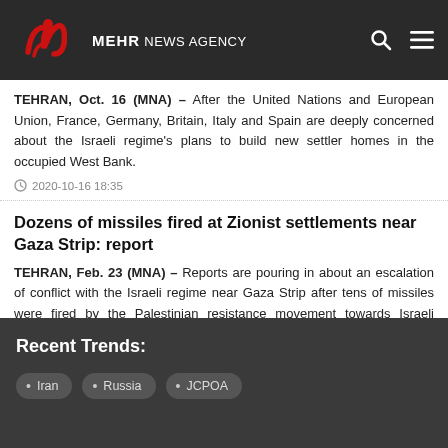MEHR NEWS AGENCY
TEHRAN, Oct. 16 (MNA) – After the United Nations and European Union, France, Germany, Britain, Italy and Spain are deeply concerned about the Israeli regime's plans to build new settler homes in the occupied West Bank.
2020-10-16 18:35
Dozens of missiles fired at Zionist settlements near Gaza Strip: report
TEHRAN, Feb. 23 (MNA) – Reports are pouring in about an escalation of conflict with the Israeli regime near Gaza Strip after tens of missiles were fired by the Palestinian resistance movement towards Israeli settlements.
2020-02-23 21:16
Recent Trends:
Iran
Russia
JCPOA